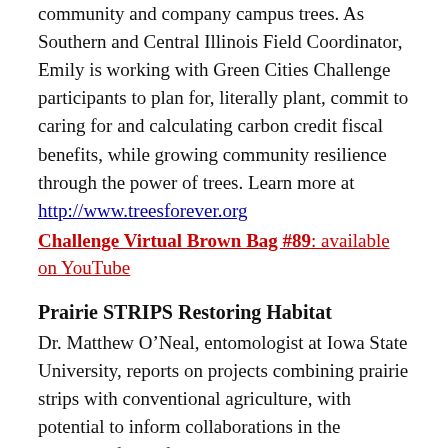community and company campus trees. As Southern and Central Illinois Field Coordinator, Emily is working with Green Cities Challenge participants to plan for, literally plant, commit to caring for and calculating carbon credit fiscal benefits, while growing community resilience through the power of trees. Learn more at http://www.treesforever.org
Challenge Virtual Brown Bag #89: available on YouTube
Prairie STRIPS Restoring Habitat
Dr. Matthew O’Neal, entomologist at Iowa State University, reports on projects combining prairie strips with conventional agriculture, with potential to inform collaborations in the emerging field of “Agri-Voltaics.” Explore the Prairie STRIPS project.
Challenge Virtual Brown Bag #87: available on YouTube
Historic Greenwood Cemetery
This north St. Louis County site offers one of our region’s